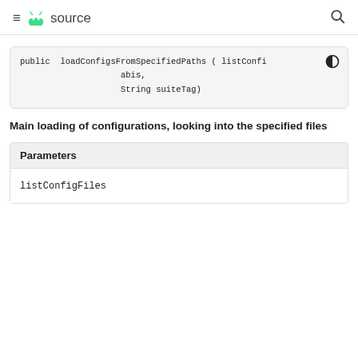≡ 🤖 source 🔍
public  loadConfigsFromSpecifiedPaths ( listConfi
                    abis,
                    String suiteTag)
Main loading of configurations, looking into the specified files
| Parameters |
| --- |
| listConfigFiles |